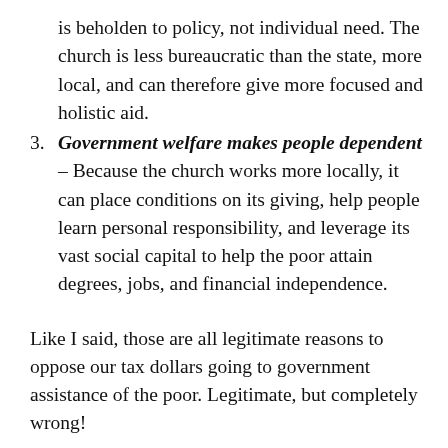is beholden to policy, not individual need. The church is less bureaucratic than the state, more local, and can therefore give more focused and holistic aid.
Government welfare makes people dependent – Because the church works more locally, it can place conditions on its giving, help people learn personal responsibility, and leverage its vast social capital to help the poor attain degrees, jobs, and financial independence.
Like I said, those are all legitimate reasons to oppose our tax dollars going to government assistance of the poor. Legitimate, but completely wrong!